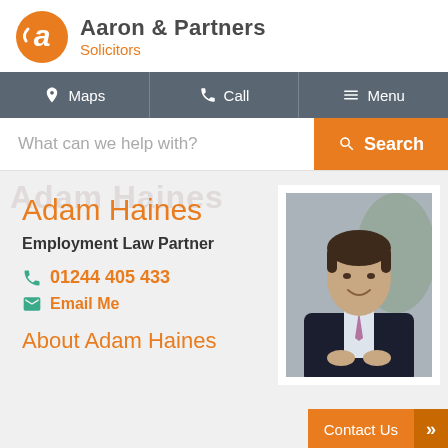[Figure (logo): Aaron & Partners Solicitors logo with orange circular 'a' icon]
Aaron & Partners Solicitors
Maps | Call | Menu navigation bar
What can we help with? Search
Adam Haines
Employment Law Partner
01244 405 433
Email Me
About Adam Haines
[Figure (photo): Professional headshot of Adam Haines, a man in a dark suit with a pink/purple tie, smiling]
Contact Us